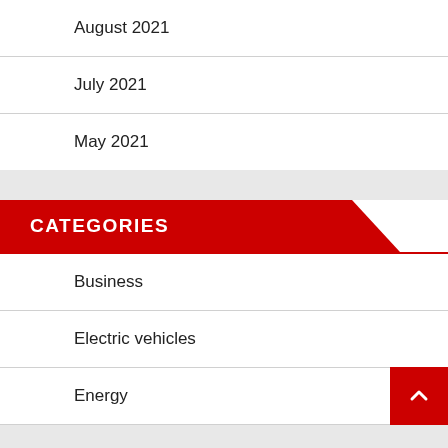August 2021
July 2021
May 2021
CATEGORIES
Business
Electric vehicles
Energy